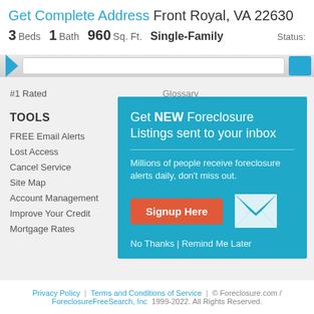Get Complete Address Front Royal, VA 22630
3 Beds  1 Bath  960 Sq. Ft.  Single-Family  Status:
#1 Rated
Glossary
Foreclosure Laws
Foreclosure Articles
TOOLS
FREE Email Alerts
Lost Access
Cancel Service
Site Map
Account Management
Improve Your Credit
Mortgage Rates
[Figure (infographic): Popup overlay on a teal/cyan background promoting foreclosure listing email alerts. Contains title 'Get NEW Foreclosure Listings sent to your inbox', subtitle text 'Millions of people receive foreclosure alerts daily, don't miss out.', a red 'Signup Here' button, an envelope icon, and 'No Thanks | Remind Me Later' link.]
Privacy Policy  |  Terms and Conditions of Service  |  © Foreclosure.com / ForeclosureFreeSearch, Inc 1999-2022. All Rights Reserved.